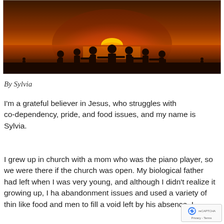[Figure (photo): Silhouettes of a group of people holding hands on a beach at sunset, with a bright orange-red sun setting over the water behind them]
By Sylvia
I'm a grateful believer in Jesus, who struggles with co-dependency, pride, and food issues, and my name is Sylvia.
I grew up in church with a mom who was the piano player, so we were there if the church was open. My biological father had left when I was very young, and although I didn't realize it growing up, I ha abandonment issues and used a variety of thin like food and men to fill a void left by his absence. I